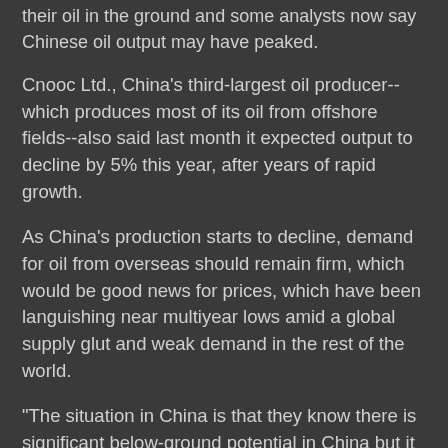their oil in the ground and some analysts now say Chinese oil output may have peaked.
Cnooc Ltd., China's third-largest oil producer--which produces most of its oil from offshore fields--also said last month it expected output to decline by 5% this year, after years of rapid growth.
As China's production starts to decline, demand for oil from overseas should remain firm, which would be good news for prices, which have been languishing near multiyear lows amid a global supply glut and weak demand in the rest of the world.
"The situation in China is that they know there is significant below-ground potential in China but it is cheaper to import," said Peter Lee, an energy analyst at BMI Research, a unit of Fitch Group.
An unexpected exception in this market is Russia, whom seemed set to peak in 2014. Extraction slowly krept up